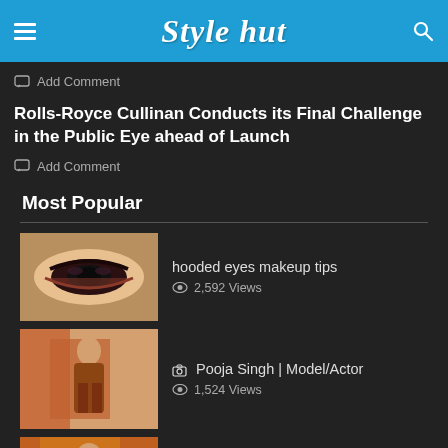Style hut
Add Comment
Rolls-Royce Cullinan Conducts its Final Challenge in the Public Eye ahead of Launch
Add Comment
Most Popular
[Figure (photo): Thumbnail of hooded eyes makeup tips - close-up eye with dramatic smoky makeup]
hooded eyes makeup tips
2,592 Views
[Figure (photo): Thumbnail of Pooja Singh Model/Actor - woman in traditional outfit]
Pooja Singh | Model/Actor
1,524 Views
[Figure (photo): Thumbnail for kuch toh log kaheghe - woman in saree]
kuch toh log kaheghe
1,299 Views